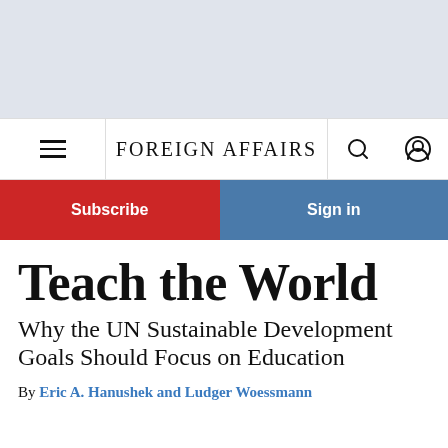FOREIGN AFFAIRS
Subscribe
Sign in
Teach the World
Why the UN Sustainable Development Goals Should Focus on Education
By Eric A. Hanushek and Ludger Woessmann